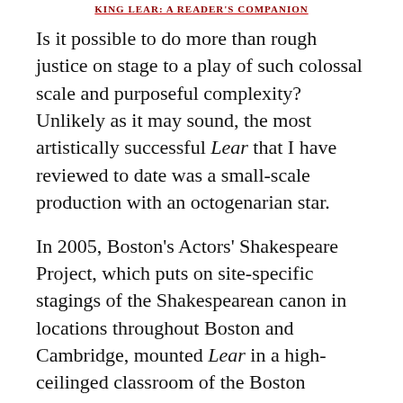KING LEAR: A READER'S COMPANION
Is it possible to do more than rough justice on stage to a play of such colossal scale and purposeful complexity? Unlikely as it may sound, the most artistically successful Lear that I have reviewed to date was a small-scale production with an octogenarian star.
In 2005, Boston's Actors' Shakespeare Project, which puts on site-specific stagings of the Shakespearean canon in locations throughout Boston and Cambridge, mounted Lear in a high-ceilinged classroom of the Boston University School of Theatre. The near-abstract bare-bones production, staged by Patrick Swanson and designed by David R.